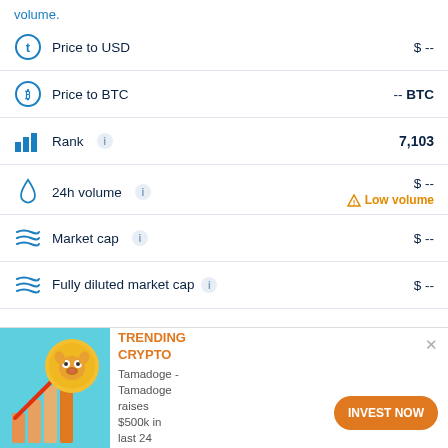volume.
Price to USD   $ --
Price to BTC   -- BTC
Rank   7,103
24h volume   $ --  Low volume
Market cap   $ --
Fully diluted market cap   $ --
[Figure (infographic): Advertisement banner for Tamadoge crypto with dog coin image, bar chart graphic, orange TOP TRENDING CRYPTO text, description 'Tamadoge - Tamadoge raises $500k in last 24 hours', and orange INVEST NOW button]